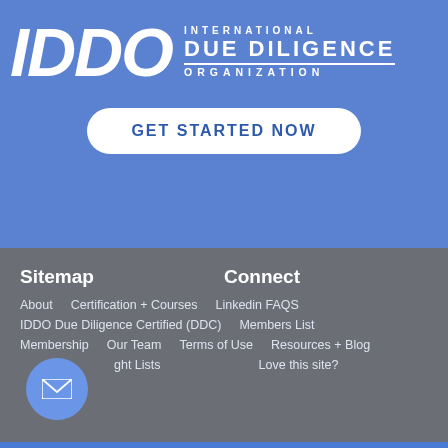[Figure (logo): IDDO International Due Diligence Organization logo in white on blue background]
GET STARTED NOW
Sitemap
Connect
About
Certification + Courses
Linkedin FAQS
IDDO Due Diligence Certified (DDC)
IDDO Members List
Membership
Our Team
Terms of Use
Resources + Blog
ght Lists
Love this site?